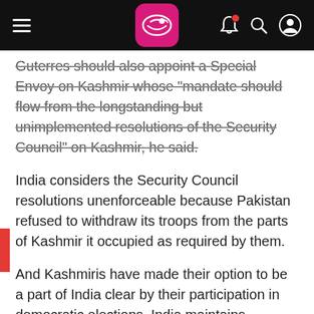[Navigation bar with hamburger menu, logo, bell, search, and user icons]
Guterres should also appoint a Special Envoy on Kashmir whose "mandate should flow from the longstanding but unimplemented resolutions of the Security Council" on Kashmir, he said.
India considers the Security Council resolutions unenforceable because Pakistan refused to withdraw its troops from the parts of Kashmir it occupied as required by them.
And Kashmiris have made their option to be a part of India clear by their participation in democratic elections, India maintains.
After Prime Ministers Indira Gandhi and Zulfikar Ali Bhutto signed the 1972 Simla Agreement recognising that disputes between the two countries are bilateral